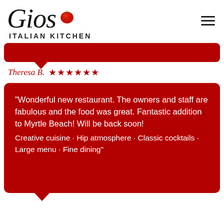[Figure (logo): Gio's Italian Kitchen logo with script text 'Gios', a red tomato icon, and subtitle 'ITALIAN KITCHEN' in bold capitals]
[Figure (other): Dark red speech bubble (top, pointing down-left)]
Theresa B. ★★★★★★
"Wonderful new restaurant. The owners and staff are fabulous and the food was great. Fantastic addition to Myrtle Beach! Will be back soon!
Creative cuisine · Hip atmosphere · Classic cocktails · Large menu · Fine dining"